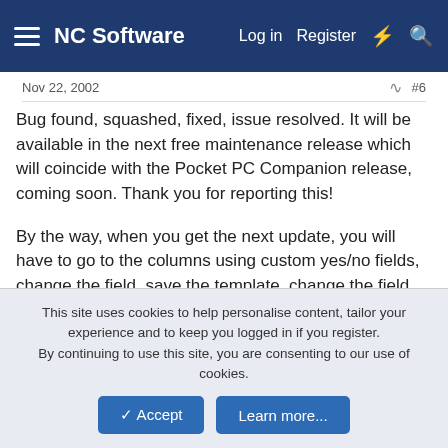NC Software  Log in  Register
Nov 22, 2002   #6
Bug found, squashed, fixed, issue resolved. It will be available in the next free maintenance release which will coincide with the Pocket PC Companion release, coming soon. Thank you for reporting this!
By the way, when you get the next update, you will have to go to the columns using custom yes/no fields, change the field, save the template, change the field back to get the update to take.
You do NOT need to change your custom fields to TIME fields, the yes/no fields are going to do what you need, so leave as is for now unless you need an immediate fix for your reports.
This site uses cookies to help personalise content, tailor your experience and to keep you logged in if you register.
By continuing to use this site, you are consenting to our use of cookies.